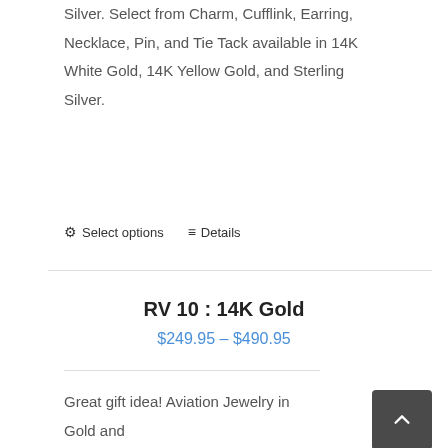Silver. Select from Charm, Cufflink, Earring, Necklace, Pin, and Tie Tack available in 14K White Gold, 14K Yellow Gold, and Sterling Silver.
⚙ Select options  ≡ Details
RV 10 : 14K Gold
$249.95 – $490.95
Great gift idea! Aviation Jewelry in Gold and Silver. Select from Charm, Cufflink, Earring, Necklace, Pin, and Tie Tack available in 14K